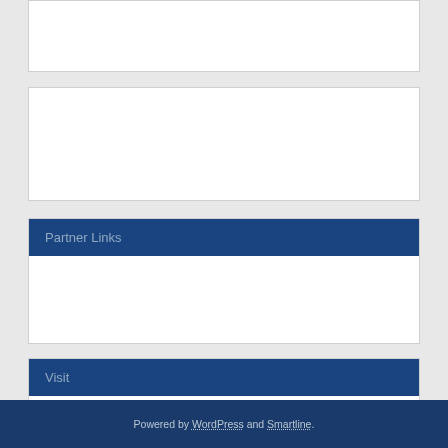Partner Links
Visit
Legal Aids
Powered by WordPress and Smartline.